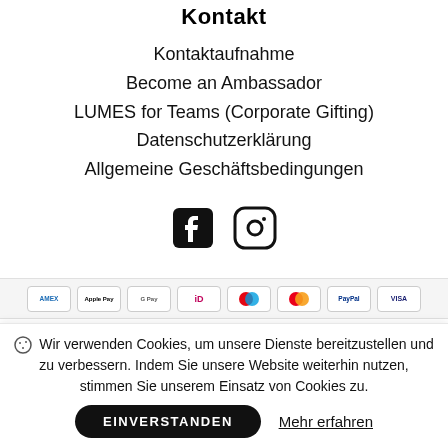Kontakt
Kontaktaufnahme
Become an Ambassador
LUMES for Teams (Corporate Gifting)
Datenschutzerklärung
Allgemeine Geschäftsbedingungen
[Figure (infographic): Facebook and Instagram social media icons]
[Figure (infographic): Payment method icons: American Express, Apple Pay, Google Pay, iDEAL, Maestro, Mastercard, PayPal, Visa]
Wir verwenden Cookies, um unsere Dienste bereitzustellen und zu verbessern. Indem Sie unsere Website weiterhin nutzen, stimmen Sie unserem Einsatz von Cookies zu.
EINVERSTANDEN
Mehr erfahren